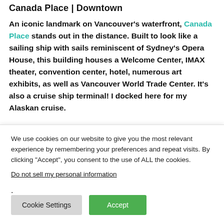Canada Place | Downtown
An iconic landmark on Vancouver’s waterfront, Canada Place stands out in the distance. Built to look like a sailing ship with sails reminiscent of Sydney’s Opera House, this building houses a Welcome Center, IMAX theater, convention center, hotel, numerous art exhibits, as well as Vancouver World Trade Center. It’s also a cruise ship terminal! I docked here for my Alaskan cruise.
At night, it’s unmistakable with its lit up and colorful sails. See
We use cookies on our website to give you the most relevant experience by remembering your preferences and repeat visits. By clicking “Accept”, you consent to the use of ALL the cookies.
Do not sell my personal information.